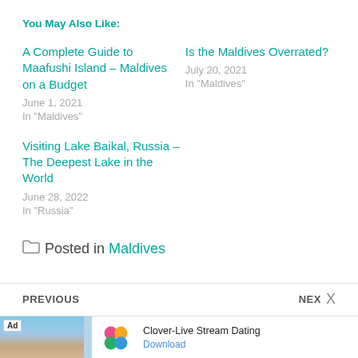You May Also Like:
A Complete Guide to Maafushi Island – Maldives on a Budget
June 1, 2021
In "Maldives"
Is the Maldives Overrated?
July 20, 2021
In "Maldives"
Visiting Lake Baikal, Russia – The Deepest Lake in the World
June 28, 2022
In "Russia"
Posted in Maldives
PREVIOUS | NEX X
[Figure (other): Advertisement banner for Clover-Live Stream Dating app with beach photo, clover logo, and Download button]